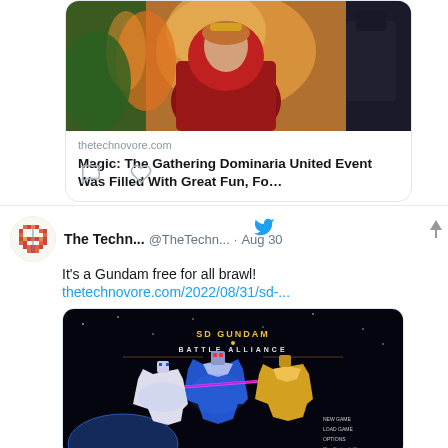[Figure (screenshot): Link card showing thetechnovore.com article about Magic: The Gathering Dominaria United Event, with a painting of a fantasy woman in red robes at top]
thetechnovore.com
Magic: The Gathering Dominaria United Event Was Filled With Great Fun, Fo…
[Figure (screenshot): Tweet from The Techn... (@TheTechn...) on Aug 30: It's a Gundam free for all brawl! thetechnovore.com/2022/08/31/sd-... with an image of SD Gundam Battle Alliance game]
The Techn...  @TheTechn...  · Aug 30
It's a Gundam free for all brawl!
thetechnovore.com/2022/08/31/sd-...
[Figure (screenshot): SD Gundam Battle Alliance game title screen showing mecha robots with glowing effects]